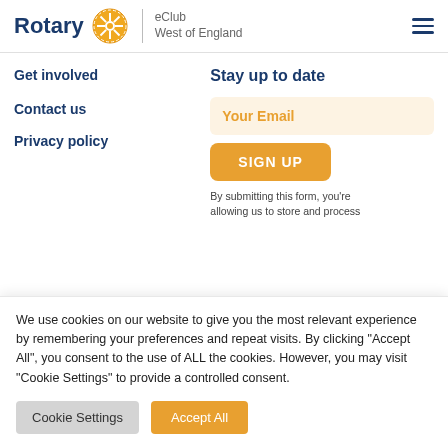Rotary eClub West of England
Get involved
Contact us
Privacy policy
Stay up to date
Your Email
SIGN UP
By submitting this form, you're allowing us to store and process
We use cookies on our website to give you the most relevant experience by remembering your preferences and repeat visits. By clicking "Accept All", you consent to the use of ALL the cookies. However, you may visit "Cookie Settings" to provide a controlled consent.
Cookie Settings
Accept All